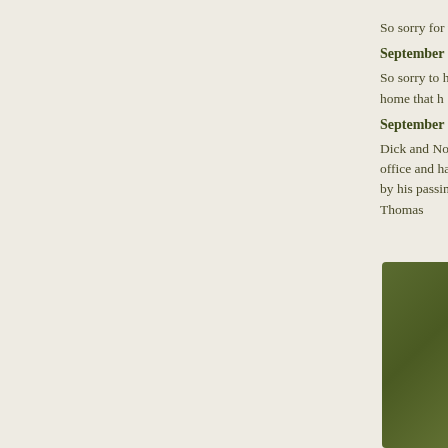So sorry for y
September 1
So sorry to h home that h
September 1
Dick and Nor office and ha by his passin Thomas
[Figure (photo): A dark olive/green colored rectangular photo or card, partially visible on the right side of the page]